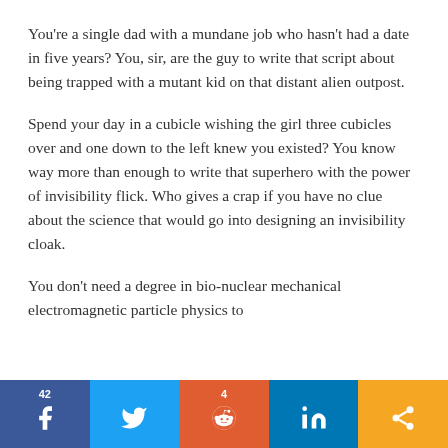You're a single dad with a mundane job who hasn't had a date in five years?  You, sir, are the guy to write that script about being trapped with a mutant kid on that distant alien outpost.
Spend your day in a cubicle wishing the girl three cubicles over and one down to the left knew you existed?  You know way more than enough to write that superhero with the power of invisibility flick.  Who gives a crap if you have no clue about the science that would go into designing an invisibility cloak.
You don't need a degree in bio-nuclear mechanical electromagnetic particle physics to
[Figure (infographic): Social sharing bar with five buttons: Facebook (42 shares, dark blue), Twitter (light blue), Reddit (4 shares, orange-red), LinkedIn (dark blue), Share (amber/orange)]